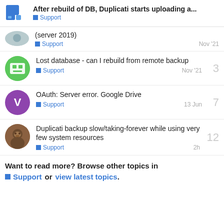After rebuild of DB, Duplicati starts uploading a... | Support
(server 2019) | Support | Nov '21
Lost database - can I rebuild from remote backup | Support | Nov '21 | replies: 3
OAuth: Server error. Google Drive | Support | 13 Jun | replies: 7
Duplicati backup slow/taking-forever while using very few system resources | Support | 2h | replies: 12
Want to read more? Browse other topics in Support or view latest topics.